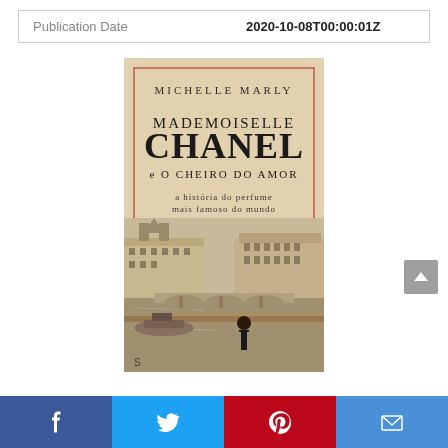| Publication Date | 2020-10-08T00:00:01Z |
| --- | --- |
[Figure (illustration): Book cover for 'Mademoiselle Chanel e O Cheiro do Amor' by Michelle Marly, showing a Paris river scene with a woman viewed from behind, bridges, and Haussmann buildings, with the title text overlaid on a vintage beige background.]
Facebook | Twitter | Pinterest | Email social sharing bar